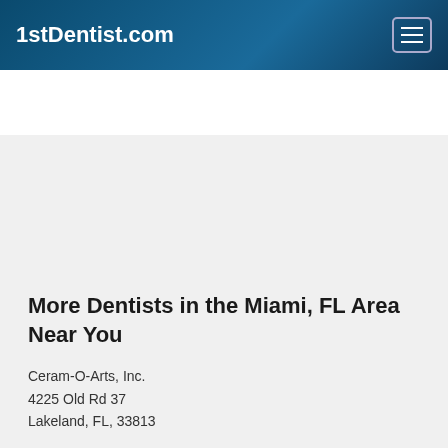1stDentist.com
More Dentists in the Miami, FL Area Near You
Ceram-O-Arts, Inc.
4225 Old Rd 37
Lakeland, FL, 33813
Dr. Kenneth A. Mogell D. M. D
2900 N Military Trl Ste 212
Boca Raton, FL, 33431-6308
(561) 353-5252
Doctor - Activate Your Free 1stDentist Directory Listing
All Aspects Dental Oakland
301 South Tubb Street D-2